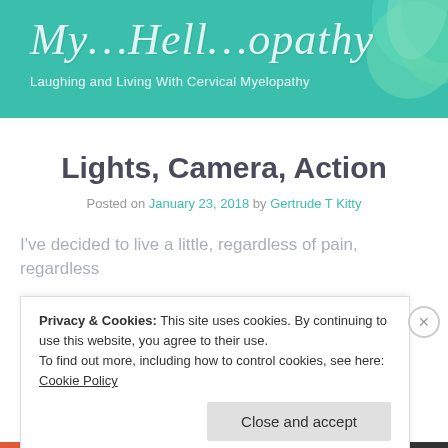[Figure (illustration): Blog header banner with teal/green background and decorative flower in top right corner]
My…Hell…opathy
Laughing and Living With Cervical Myelopathy
Lights, Camera, Action
Posted on January 23, 2018 by Gertrude T Kitty
I've decided to live a little, regardless of pain, regardless
Privacy & Cookies: This site uses cookies. By continuing to use this website, you agree to their use.
To find out more, including how to control cookies, see here: Cookie Policy
Close and accept